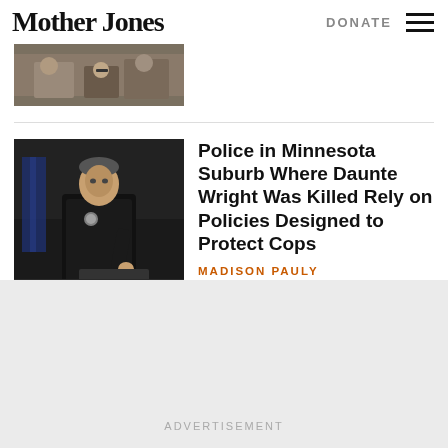Mother Jones | DONATE
[Figure (photo): Cropped top portion of a previous article image showing people in a room]
[Figure (photo): A police officer in uniform standing in front of flags in a dark room]
Police in Minnesota Suburb Where Daunte Wright Was Killed Rely on Policies Designed to Protect Cops
MADISON PAULY
ADVERTISEMENT